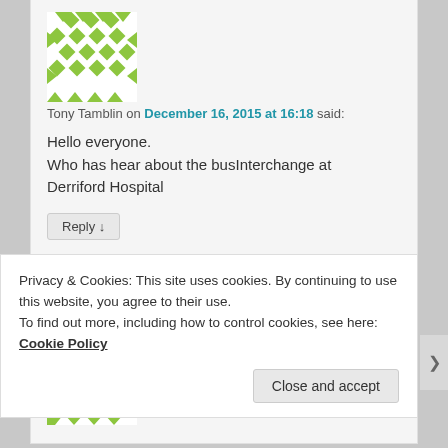[Figure (illustration): Green diamond/geometric pattern avatar image for Tony Tamblin]
Tony Tamblin on December 16, 2015 at 16:18 said:
Hello everyone.
Who has hear about the busInterchange at Derriford Hospital
Reply ↓
[Figure (illustration): Green diamond/geometric pattern avatar image for second commenter]
Privacy & Cookies: This site uses cookies. By continuing to use this website, you agree to their use.
To find out more, including how to control cookies, see here: Cookie Policy
Close and accept